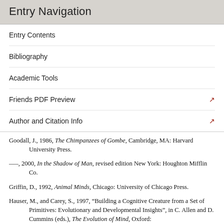Entry Navigation
Entry Contents
Bibliography
Academic Tools
Friends PDF Preview
Author and Citation Info
Goodall, J., 1986, The Chimpanzees of Gombe, Cambridge, MA: Harvard University Press.
–––, 2000, In the Shadow of Man, revised edition New York: Houghton Mifflin Co.
Griffin, D., 1992, Animal Minds, Chicago: University of Chicago Press.
Hauser, M., and Carey, S., 1997, "Building a Cognitive Creature from a Set of Primitives: Evolutionary and Developmental Insights", in C. Allen and D. Cummins (eds.), The Evolution of Mind, Oxford: